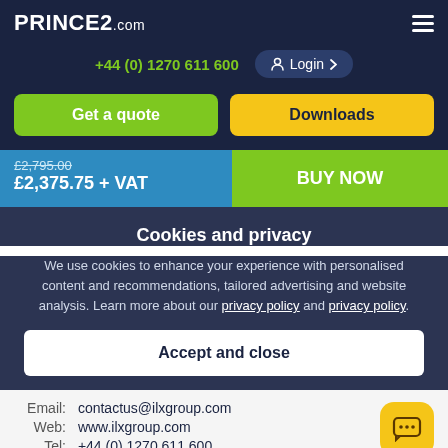PRINCE2.com
+44 (0) 1270 611 600
Login
Get a quote
Downloads
£2,795.00 £2,375.75 + VAT
BUY NOW
Cookies and privacy
We use cookies to enhance your experience with personalised content and recommendations, tailored advertising and website analysis. Learn more about our privacy policy and privacy policy.
Accept and close
Email: contactus@ilxgroup.com
Web: www.ilxgroup.com
Tel: +44 (0) 1270 611 600